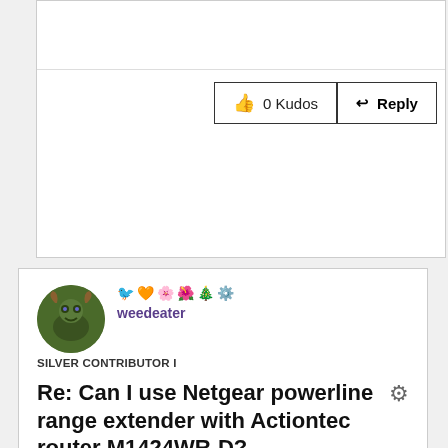[Figure (other): Kudos and Reply buttons row with thumbs-up icon showing 0 Kudos and a Reply button]
[Figure (other): User avatar circular photo of weedeater with decorative emoji badges]
weedeater
SILVER CONTRIBUTOR I
Re: Can I use Netgear powerline range extender with Actiontec router M1424WR-D?
04-04-2013 03:44 PM
Message 5 of 6 (8,555 Views)
I would like to think it is safe.  I'm guessing it is designed to encrypt communications on the power lines themselves.  This would keep anyone from plugging in their own unit in your house (or apartment building? or